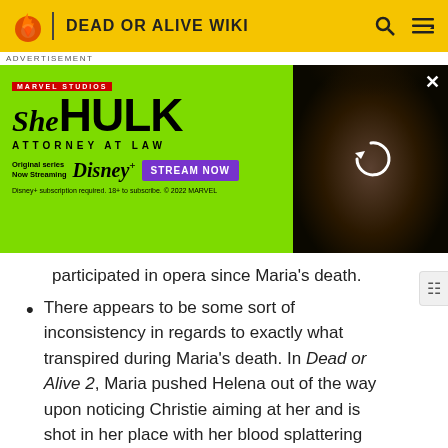DEAD OR ALIVE WIKI
[Figure (infographic): She-Hulk Attorney at Law advertisement banner. Green background with Marvel Studios logo, She-Hulk title text, 'Attorney at Law' subtitle, Disney+ streaming information, 'STREAM NOW' button, and a photo of the actress on the right side with a loading/refresh icon overlay.]
participated in opera since Maria's death.
There appears to be some sort of inconsistency in regards to exactly what transpired during Maria's death. In Dead or Alive 2, Maria pushed Helena out of the way upon noticing Christie aiming at her and is shot in her place with her blood splattering Helena. However, from Dead or Alive 4 and onwards, Maria does not push Helena out of the way, but instead jumps in front of the bullet.